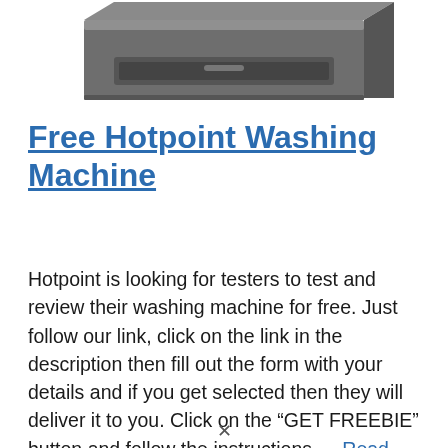[Figure (photo): Partial top view of a Hotpoint washing machine in dark grey/silver finish, cropped showing the top and front face.]
Free Hotpoint Washing Machine
Hotpoint is looking for testers to test and review their washing machine for free. Just follow our link, click on the link in the description then fill out the form with your details and if you get selected then they will deliver it to you. Click on the “GET FREEBIE” button and follow the instructions ... Read